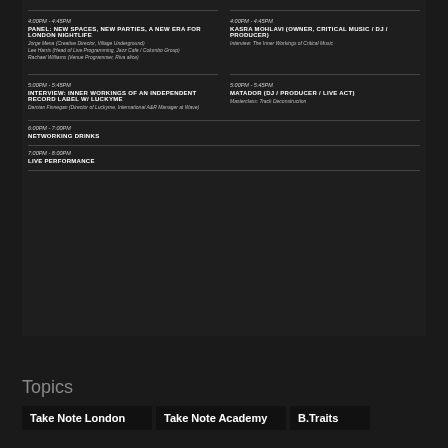4:00PM - 4:45PM
PANEL: NEW SPACES, NEW PARTIES, A NEW ERA FOR LONDON NIGHTLIFE
Jorge Mena (Creative Director, Village Underground)
Lee Harris (Head of Live Programming, Jazz Cafe / Columbo Group)
Rachael Williams (Venue Programmer, Riva alice)
4:00PM - 4:45PM
KASRA MOHLAVI (OWNER, CRITICAL MUSIC / DJ / PRODUCER)
Interview: The Inner Workings of Critical Music
5:00PM - 5:45PM
INTERVIEW: INNER WORKINGS OF AN INDEPENDENT RECORD LABEL W/ LUCKYME
Damian Finnegan (Director of Luckyme, International A&R Manager at Wave)
5:00PM - 5:45PM
MATADOR (DJ / PRODUCER / LIVE ACT)
Masterclass: Track Deconstruction
6:00PM - 7:00PM
NETWORKING DRINKS
7:00PM - 8:00PM
LIVE PERFORMANCE
Topics
Take Note London
Take Note Academy
B.Traits